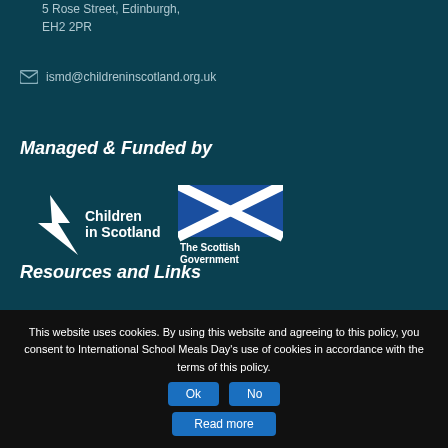5 Rose Street, Edinburgh, EH2 2PR
ismd@childreninscotland.org.uk
Managed & Funded by
[Figure (logo): Children in Scotland logo with arrow/lightning bolt icon]
[Figure (logo): The Scottish Government logo with Saltire flag]
Resources and Links
This website uses cookies. By using this website and agreeing to this policy, you consent to International School Meals Day's use of cookies in accordance with the terms of this policy.
Ok
No
Read more